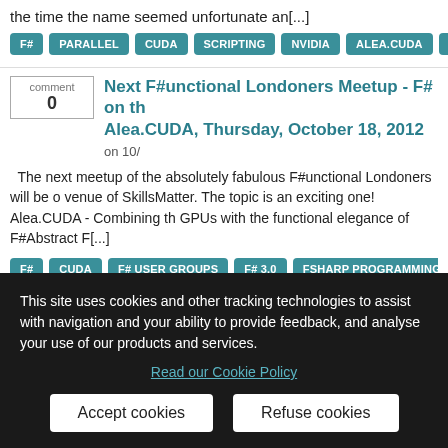the time the name seemed unfortunate an[...]
F# PARALLEL CUDA SCRIPTING NVIDIA ALEA.CUDA GTX LPB TI
Next F#unctional Londoners Meetup - F# on th Alea.CUDA, Thursday, October 18, 2012 on 10/
The next meetup of the absolutely fabulous F#unctional Londoners will be o venue of SkillsMatter. The topic is an exciting one! Alea.CUDA - Combining th GPUs with the functional elegance of F#Abstract F[...]
F# CUDA F# USER GROUPS F# 3.0 FSHARP PROGRAMMING GPGPU A
This site uses cookies and other tracking technologies to assist with navigation and your ability to provide feedback, and analyse your use of our products and services.
Read our Cookie Policy
Accept cookies
Refuse cookies